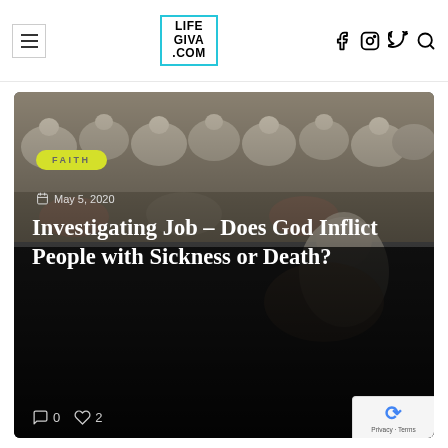LIFE GIVA .COM — navigation header with hamburger menu, logo, and social icons (Facebook, Instagram, Twitter, Search)
[Figure (photo): Black and white photo of an elderly monk or holy man sitting in front of ornate stone relief carvings of birds and animals. The figure is draped in white robes and appears to be in contemplation or prayer.]
FAITH
May 5, 2020
Investigating Job – Does God Inflict People with Sickness or Death?
0 comments · 2 likes · Share